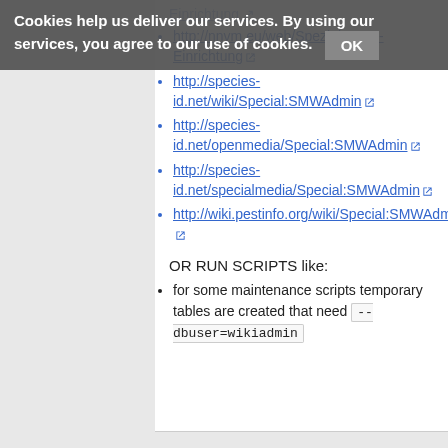Cookies help us deliver our services. By using our services, you agree to our use of cookies. OK
http://nnvm.eu/web/Spezial:SMW-Einrichtung
http://species-id.net/wiki/Special:SMWAdmin
http://species-id.net/openmedia/Special:SMWAdmin
http://species-id.net/specialmedia/Special:SMWAdmin
http://wiki.pestinfo.org/wiki/Special:SMWAdmin
OR RUN SCRIPTS like:
for some maintenance scripts temporary tables are created that need --dbuser=wikiadmin